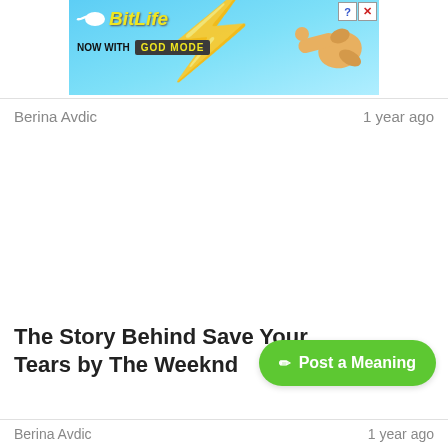[Figure (screenshot): BitLife advertisement banner with 'NOW WITH GOD MODE' text, sperm icon, lightning bolt graphic, pointing hand illustration, and close/help buttons on a light blue background]
Berina Avdic
1 year ago
The Story Behind Save Your Tears by The Weeknd
[Figure (other): Green 'Post a Meaning' button with pencil icon]
Berina Avdic
1 year ago